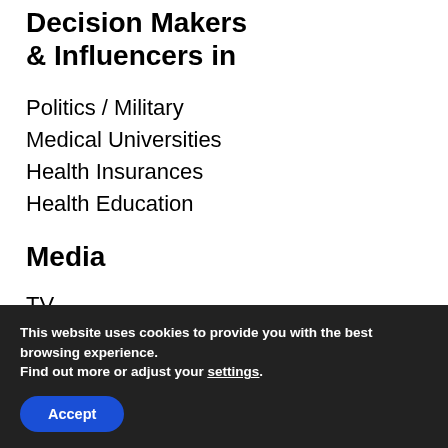Decision Makers & Influencers in
Politics / Military
Medical Universities
Health Insurances
Health Education
Media
TV
Radio
Podcast
Magazines
Newspaper
This website uses cookies to provide you with the best browsing experience.
Find out more or adjust your settings.
Accept